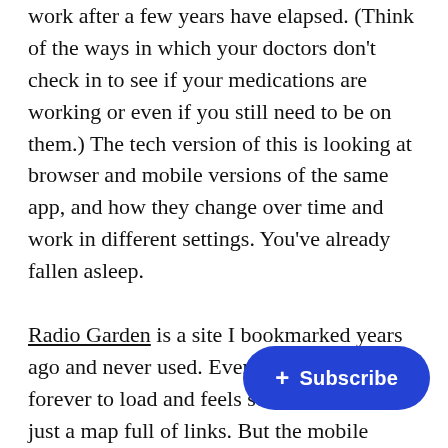work after a few years have elapsed. (Think of the ways in which your doctors don't check in to see if your medications are working or even if you still need to be on them.) The tech version of this is looking at browser and mobile versions of the same app, and how they change over time and work in different settings. You've already fallen asleep.

Radio Garden is a site I bookmarked years ago and never used. Even right now it takes forever to load and feels sort of abstracted, just a map full of links. But the mobile version, Radio Garden Live, is a total pleasure. Spin the lil globe! Pick a city! Tune in! We've been waking up and transporting ourselves to Haiti and Finland and Siberia and Kentucky for [obscured] rediscovered Radio Garden when Br[obscured] it in this recent interview. Who doesn't need safe travel [obscured]